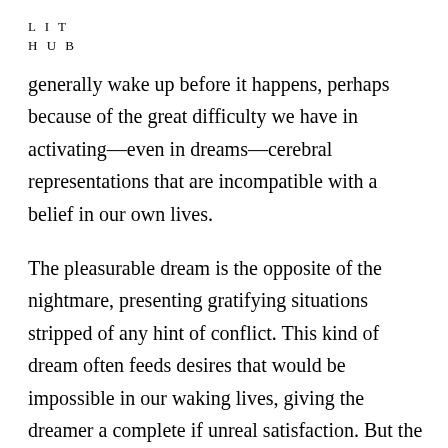L I T
H U B
generally wake up before it happens, perhaps because of the great difficulty we have in activating—even in dreams—cerebral representations that are incompatible with a belief in our own lives.
The pleasurable dream is the opposite of the nightmare, presenting gratifying situations stripped of any hint of conflict. This kind of dream often feeds desires that would be impossible in our waking lives, giving the dreamer a complete if unreal satisfaction. But the two extremes of pleasure and terror do not